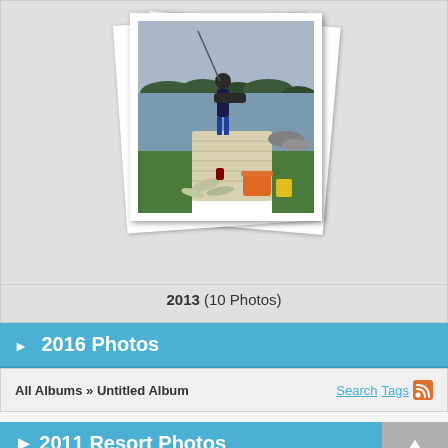[Figure (photo): A person standing on a dock by a lake, holding a fishing pole, with fish and an orange bucket on the ground in the foreground]
2013  (10 Photos)
▶ 2016 Photos
All Albums » Untitled Album
▶ 2011 Resort Photos